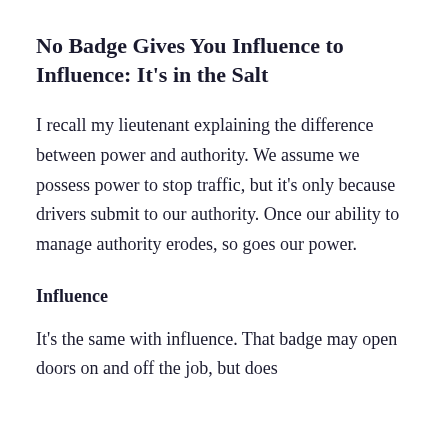No Badge Gives You Influence to Influence: It's in the Salt
I recall my lieutenant explaining the difference between power and authority. We assume we possess power to stop traffic, but it's only because drivers submit to our authority. Once our ability to manage authority erodes, so goes our power.
Influence
It's the same with influence. That badge may open doors on and off the job, but does